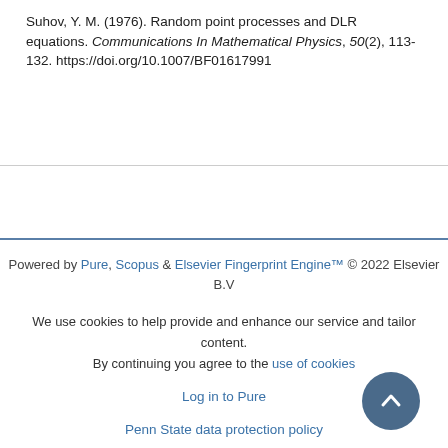Suhov, Y. M. (1976). Random point processes and DLR equations. Communications In Mathematical Physics, 50(2), 113-132. https://doi.org/10.1007/BF01617991
Powered by Pure, Scopus & Elsevier Fingerprint Engine™ © 2022 Elsevier B.V
We use cookies to help provide and enhance our service and tailor content. By continuing you agree to the use of cookies
Log in to Pure
Penn State data protection policy
About web accessibility
Contact us